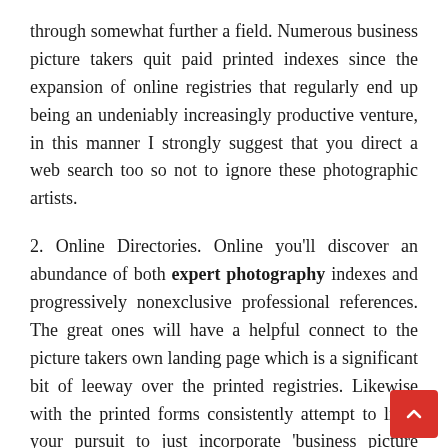through somewhat further a field. Numerous business picture takers quit paid printed indexes since the expansion of online registries that regularly end up being an undeniably increasingly productive venture, in this manner I strongly suggest that you direct a web search too so not to ignore these photographic artists.
2. Online Directories. Online you'll discover an abundance of both expert photography indexes and progressively nonexclusive professional references. The great ones will have a helpful connect to the picture takers own landing page which is a significant bit of leeway over the printed registries. Likewise with the printed forms consistently attempt to limit your pursuit to just incorporate 'business picture takers' else the greater part of these outcomes will marry and family representation picture takers. An extraordinary helpful pursuit strategy whenever compl well.